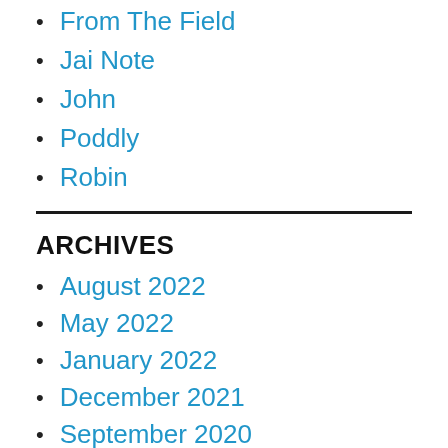From The Field
Jai Note
John
Poddly
Robin
ARCHIVES
August 2022
May 2022
January 2022
December 2021
September 2020
June 2020
May 2020